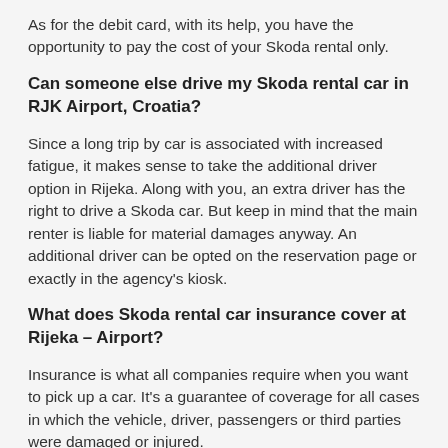As for the debit card, with its help, you have the opportunity to pay the cost of your Skoda rental only.
Can someone else drive my Skoda rental car in RJK Airport, Croatia?
Since a long trip by car is associated with increased fatigue, it makes sense to take the additional driver option in Rijeka. Along with you, an extra driver has the right to drive a Skoda car. But keep in mind that the main renter is liable for material damages anyway. An additional driver can be opted on the reservation page or exactly in the agency's kiosk.
What does Skoda rental car insurance cover at Rijeka – Airport?
Insurance is what all companies require when you want to pick up a car. It's a guarantee of coverage for all cases in which the vehicle, driver, passengers or third parties were damaged or injured.
When booking a rental car on our website, the price often includes a compulsory insurance package such as:
CDW...